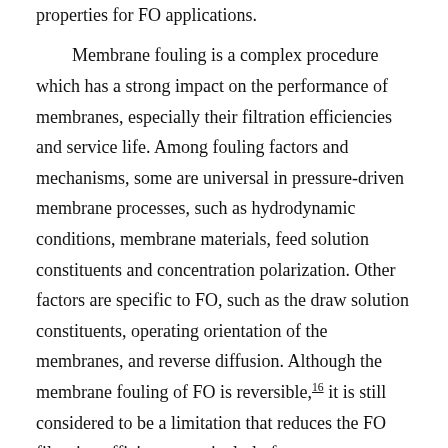properties for FO applications.

Membrane fouling is a complex procedure which has a strong impact on the performance of membranes, especially their filtration efficiencies and service life. Among fouling factors and mechanisms, some are universal in pressure-driven membrane processes, such as hydrodynamic conditions, membrane materials, feed solution constituents and concentration polarization. Other factors are specific to FO, such as the draw solution constituents, operating orientation of the membranes, and reverse diffusion. Although the membrane fouling of FO is reversible,16 it is still considered to be a limitation that reduces the FO filtration efficiency, particularly for wastewater purification applications without pretreatment.17 Many researchers have indicated that introducing nanomaterials into the active layer of a FO membrane will provide a smoother and more hydrophilic surface so that membrane fouling can be effectively prevented. It was discovered that with the incorporation of hydrophilicity nanomaterials into the active layer,18 FO